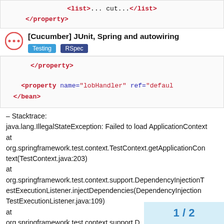<list>... cut...</list>
</property>
[Cucumber] JUnit, Spring and autowiring
Testing  RSpec
</property>

<property name="lobHandler" ref="defaul
</bean>
– Stacktrace:
java.lang.IllegalStateException: Failed to load ApplicationContext
at
org.springframework.test.context.TestContext.getApplicationContext(TestContext.java:203)
at
org.springframework.test.context.support.DependencyInjectionTestExecutionListener.injectDependencies(DependencyInjectionTestExecutionListener.java:109)
at
org.springframework.test.context.support.D
astExecutionListener.prepareTestInstance...
1 / 2